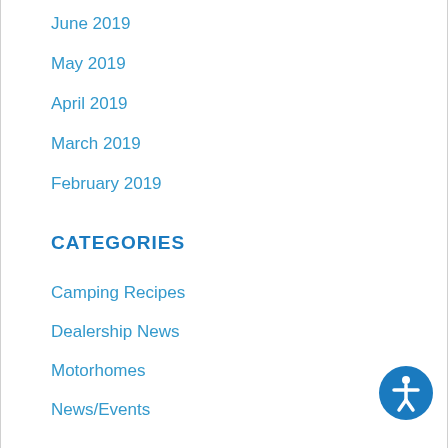June 2019
May 2019
April 2019
March 2019
February 2019
CATEGORIES
Camping Recipes
Dealership News
Motorhomes
News/Events
RV Destinations
RV Features
RV Sale